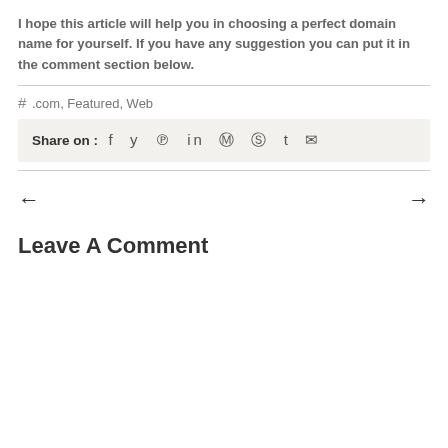I hope this article will help you in choosing a perfect domain name for yourself. If you have any suggestion you can put it in the comment section below.
# .com, Featured, Web
Share on : f ♥ ℗ in © ☺ t ✉
← →
Leave A Comment